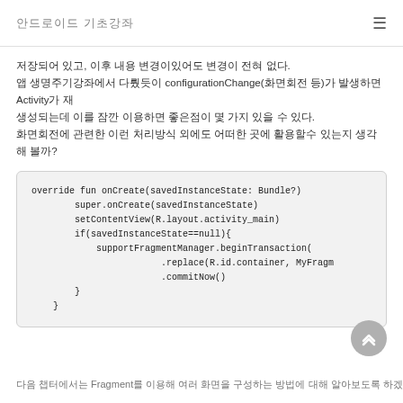안드로이드 기초강좌
저장되어 있고, 이후 내용 변경이있어도 변경이 전혀 없다.
앱 생명주기강좌에서 다뤘듯이 configurationChange(화면회전 등)가 발생하면 Activity가 재
생성되는데 이를 잠깐 이용하면 좋은점이 몇 가지 있을 수 있다.
화면회전에 관련한 이런 처리방식 외에도 어떠한 곳에 활용할수 있는지 생각해 볼까?
override fun onCreate(savedInstanceState: Bundle?)
        super.onCreate(savedInstanceState)
        setContentView(R.layout.activity_main)
        if(savedInstanceState==null){
            supportFragmentManager.beginTransaction(
                        .replace(R.id.container, MyFragm
                        .commitNow()
        }
    }
다음 챕터에서는 Fragment를 이용해 여러 화면을 구성하는 방법에 대해 알아보도록 하겠습니다.